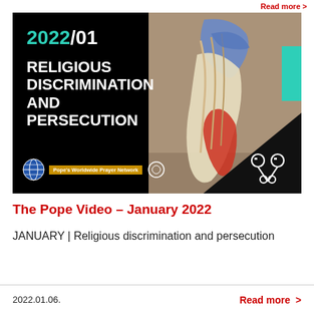Read more >
[Figure (photo): Thumbnail image for The Pope Video January 2022 - Religious Discrimination and Persecution. Left half is black with text '2022/01 RELIGIOUS DISCRIMINATION AND PERSECUTION' in white and teal, with Pope's Worldwide Prayer Network logo. Right half shows a colorful costumed figure outdoors. Bottom right has black triangle with crossed keys symbol. Teal accent bar at top right.]
The Pope Video – January 2022
JANUARY | Religious discrimination and persecution
2022.01.06.    Read more >